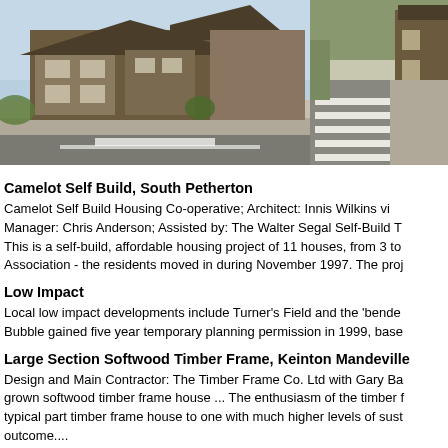[Figure (photo): Exterior view of Camelot Self Build housing development in South Petherton, showing timber-framed multi-storey houses with balconies and stone wall in foreground, blue sky background]
[Figure (photo): Street view showing road with zebra crossing markings, buildings visible on right side, partial view cropped at right edge]
Camelot Self Build, South Petherton
Camelot Self Build Housing Co-operative; Architect: Innis Wilkins vi Manager: Chris Anderson; Assisted by: The Walter Segal Self-Build T This is a self-build, affordable housing project of 11 houses, from 3 to Association - the residents moved in during November 1997. The proj
Low Impact
Local low impact developments include Turner's Field and the 'bende Bubble gained five year temporary planning permission in 1999, base
Large Section Softwood Timber Frame, Keinton Mandeville
Design and Main Contractor: The Timber Frame Co. Ltd with Gary Ba grown softwood timber frame house ... The enthusiasm of the timber f typical part timber frame house to one with much higher levels of sust outcome....